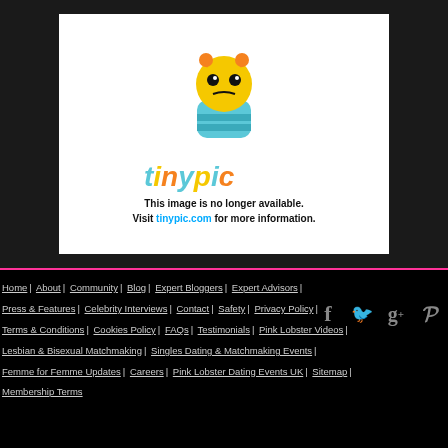[Figure (screenshot): TinyPic placeholder image showing 'This image is no longer available. Visit tinypic.com for more information.']
Home | About | Community | Blog | Expert Bloggers | Expert Advisors | Press & Features | Celebrity Interviews | Contact | Safety | Privacy Policy | Terms & Conditions | Cookies Policy | FAQs | Testimonials | Pink Lobster Videos | Lesbian & Bisexual Matchmaking | Singles Dating & Matchmaking Events | Femme for Femme Updates | Careers | Pink Lobster Dating Events UK | Sitemap | Membership Terms